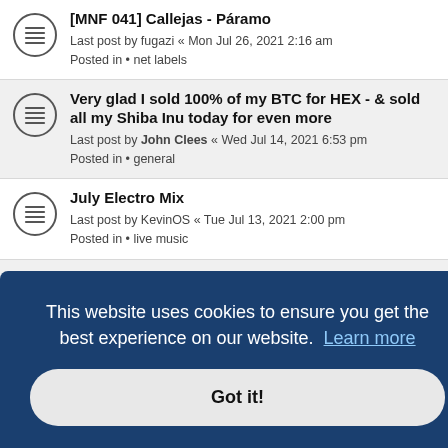[MNF 041] Callejas - Páramo
Last post by fugazi « Mon Jul 26, 2021 2:16 am
Posted in • net labels
Very glad I sold 100% of my BTC for HEX - & sold all my Shiba Inu today for even more
Last post by John Clees « Wed Jul 14, 2021 6:53 pm
Posted in • general
July Electro Mix
Last post by KevinOS « Tue Jul 13, 2021 2:00 pm
Posted in • live music
[broque 137] blondo connolly - the lost rimini tapes
Last post by Fatkid « Sat Jul 10, 2021 10:15 am
This website uses cookies to ensure you get the best experience on our website. Learn more
Got it!
Last post by visionnaireton « Tue Jul 06, 2021 12:11 pm